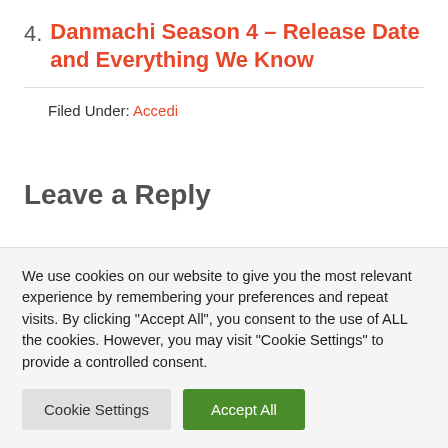4. Danmachi Season 4 – Release Date and Everything We Know
Filed Under: Accedi
Leave a Reply
We use cookies on our website to give you the most relevant experience by remembering your preferences and repeat visits. By clicking "Accept All", you consent to the use of ALL the cookies. However, you may visit "Cookie Settings" to provide a controlled consent.